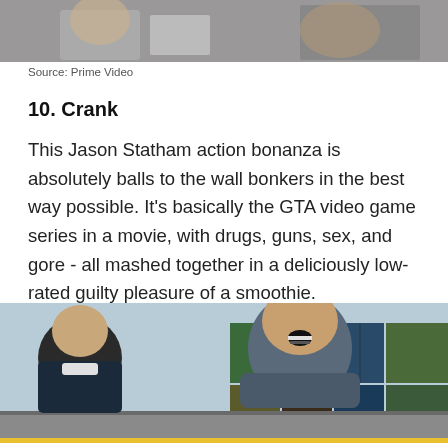[Figure (photo): Top portion of image showing a scene from a movie or TV show with figures and dramatic lighting]
Source: Prime Video
10. Crank
This Jason Statham action bonanza is absolutely balls to the wall bonkers in the best way possible. It's basically the GTA video game series in a movie, with drugs, guns, sex, and gore - all mashed together in a deliciously low-rated guilty pleasure of a smoothie.
[Figure (photo): Scene from the movie Crank showing Jason Statham in foreground grimacing, with another man visible in the background, shipping containers visible in the distance. Gold bar at bottom.]